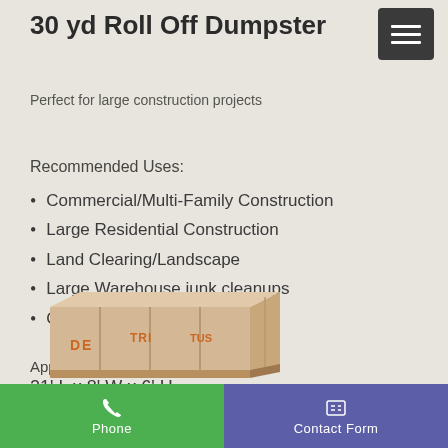30 yd Roll Off Dumpster
Perfect for large construction projects
Recommended Uses:
Commercial/Multi-Family Construction
Large Residential Construction
Land Clearing/Landscape
Large Warehouse junk cleanups
Commercial/Insulated Roofing
Approximate Dimensions:
21' L x 8' W x 6' H
[Figure (illustration): Illustration of a roll-off dumpster container with 'DE TRI TUS' text on side]
Phone
Contact Form